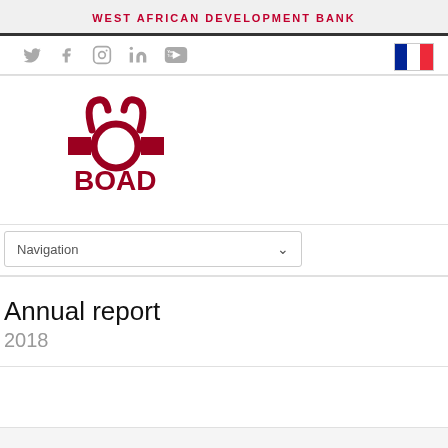WEST AFRICAN DEVELOPMENT BANK
[Figure (logo): BOAD (West African Development Bank) logo — stylized bull/ox head symbol in dark red above the text 'BOAD' in bold dark red letters]
Navigation
Annual report
2018